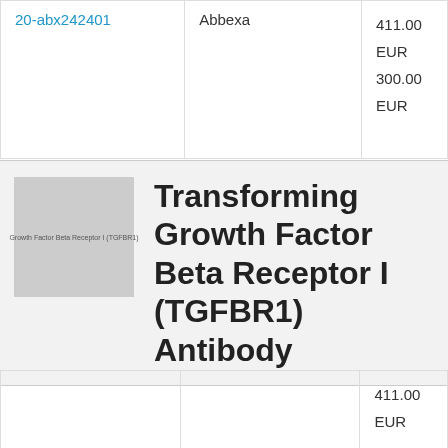| ID | Vendor | Price |
| --- | --- | --- |
| 20-abx242401 | Abbexa | 411.00 EUR
300.00 EUR |
|  |  | 411.00 EUR |
[Figure (illustration): Gray placeholder image for Transforming Growth Factor Beta Receptor I (TGFBR1) antibody product]
Transforming Growth Factor Beta Receptor I (TGFBR1) Antibody